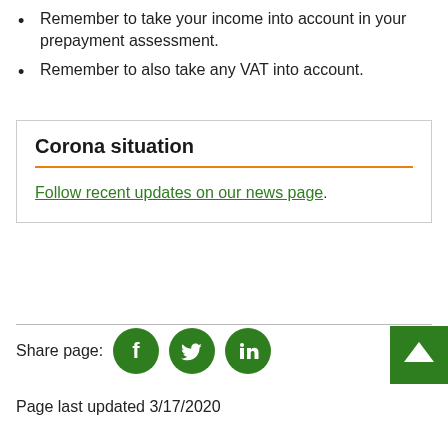Remember to take your income into account in your prepayment assessment.
Remember to also take any VAT into account.
Corona situation
Follow recent updates on our news page.
Share page:
Page last updated 3/17/2020